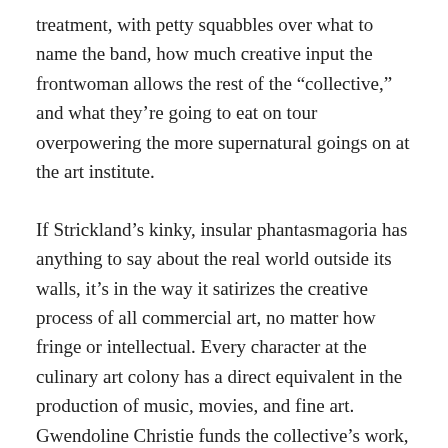treatment, with petty squabbles over what to name the band, how much creative input the frontwoman allows the rest of the “collective,” and what they’re going to eat on tour overpowering the more supernatural goings on at the art institute.
If Strickland’s kinky, insular phantasmagoria has anything to say about the real world outside its walls, it’s in the way it satirizes the creative process of all commercial art, no matter how fringe or intellectual. Every character at the culinary art colony has a direct equivalent in the production of music, movies, and fine art.  Gwendoline Christie funds the collective’s work, limiting their creative freedom with producer meddling & studio boardroom notes just to flex her authority. Longtime Strickland muse Fatma Mohamed plays the